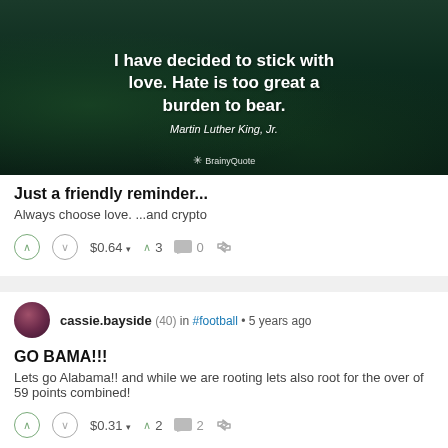[Figure (photo): Dark green nature background with MLK quote: 'I have decided to stick with love. Hate is too great a burden to bear. — Martin Luther King, Jr.' with BrainyQuote branding]
Just a friendly reminder...
Always choose love. ...and crypto
$0.64  ▲ 3  □ 0  ↻
cassie.bayside (40) in #football • 5 years ago
GO BAMA!!!
Lets go Alabama!! and while we are rooting lets also root for the over of 59 points combined!
$0.31  ▲ 2  □ 2  ↻
cassie.bayside (40) in #crypto • 5 years ago